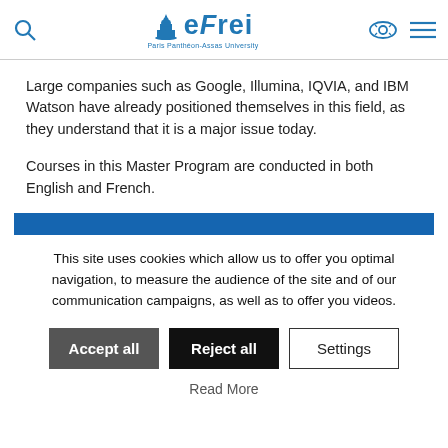efrei — Paris Panthéon-Assas University (logo header with search and menu icons)
Large companies such as Google, Illumina, IQVIA, and IBM Watson have already positioned themselves in this field, as they understand that it is a major issue today.
Courses in this Master Program are conducted in both English and French.
This site uses cookies which allow us to offer you optimal navigation, to measure the audience of the site and of our communication campaigns, as well as to offer you videos.
Accept all | Reject all | Settings
Read More